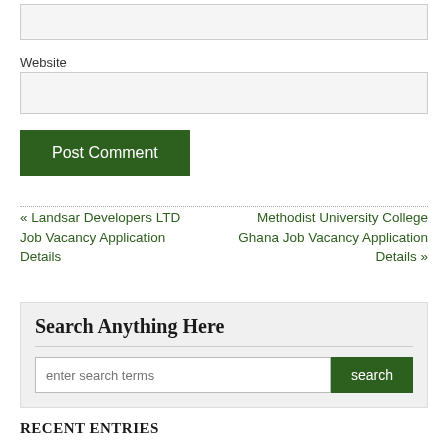[input field]
Website
[website input field]
Post Comment
« Landsar Developers LTD Job Vacancy Application Details
Methodist University College Ghana Job Vacancy Application Details »
Search Anything Here
enter search terms
RECENT ENTRIES